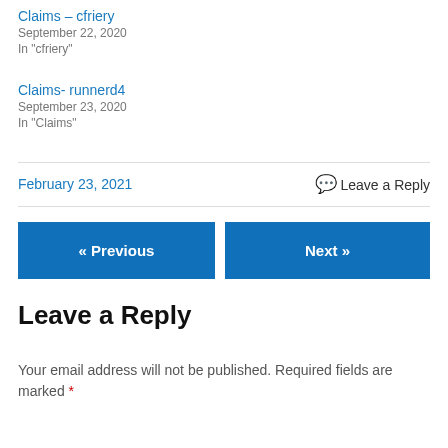Claims – cfriery
September 22, 2020
In "cfriery"
Claims- runnerd4
September 23, 2020
In "Claims"
February 23, 2021
Leave a Reply
« Previous
Next »
Leave a Reply
Your email address will not be published. Required fields are marked *